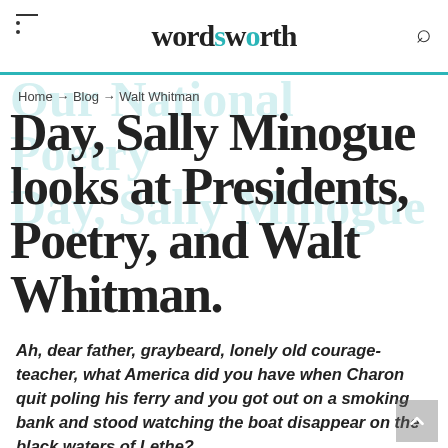wordsworth
Home → Blog → Walt Whitman
Day, Sally Minogue looks at Presidents, Poetry, and Walt Whitman.
Ah, dear father, graybeard, lonely old courage-teacher, what America did you have when Charon quit poling his ferry and you got out on a smoking bank and stood watching the boat disappear on the black waters of Lethe? A Supermarket in